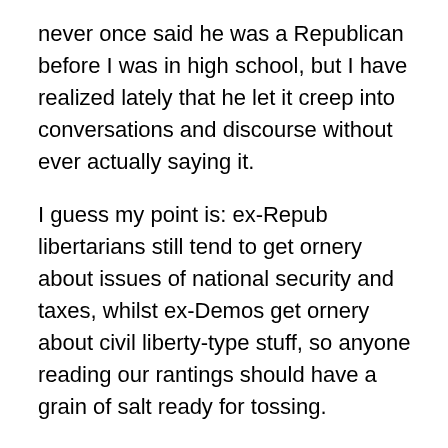never once said he was a Republican before I was in high school, but I have realized lately that he let it creep into conversations and discourse without ever actually saying it.
I guess my point is: ex-Repub libertarians still tend to get ornery about issues of national security and taxes, whilst ex-Demos get ornery about civil liberty-type stuff, so anyone reading our rantings should have a grain of salt ready for tossing.
PS: That's right, I implied three Corcoran libertarians. Seamus and I became libertarians in the early '90s, totally independent of each other. It was quite a bonding point, since up until '94 or so, we despised each the other. The big deal is that Sean confided to me not a week ago that he is about a full-fledged libertarian (again, probably